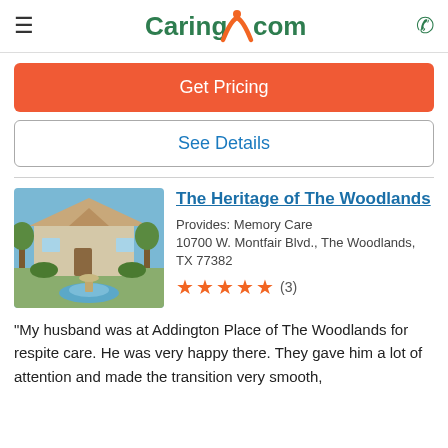Caring.com
Get Pricing
See Details
The Heritage of The Woodlands
Provides: Memory Care
10700 W. Montfair Blvd., The Woodlands, TX 77382
★★★★★ (3)
"My husband was at Addington Place of The Woodlands for respite care. He was very happy there. They gave him a lot of attention and made the transition very smooth,